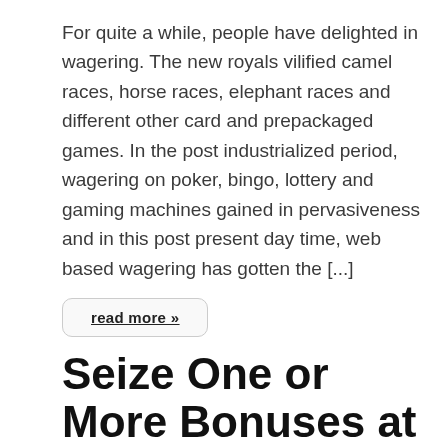For quite a while, people have delighted in wagering. The new royals vilified camel races, horse races, elephant races and different other card and prepackaged games. In the post industrialized period, wagering on poker, bingo, lottery and gaming machines gained in pervasiveness and in this post present day time, web based wagering has gotten the [...]
read more »
Seize One or More Bonuses at an Online